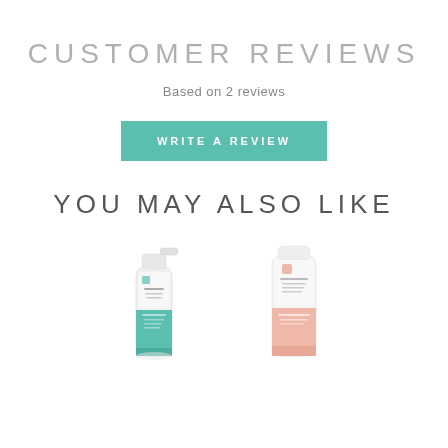CUSTOMER REVIEWS
Based on 2 reviews
WRITE A REVIEW
YOU MAY ALSO LIKE
[Figure (photo): Two Environ skincare product bottles side by side — a teal spray bottle on the left and a white/pink tube on the right]
[Figure (photo): Environ white and pink skincare tube product]